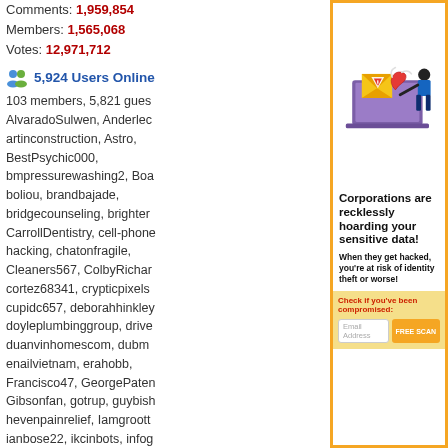Comments: 1,959,854
Members: 1,565,068
Votes: 12,971,712
5,924 Users Online
103 members, 5,821 guests
AlvaradoSulwen, Anderlec, artinconstruction, Astro, BestPsychic000, bmpressurewashing2, Boa, boliou, brandbajade, bridgecounseling, brighter, CarrollDentistry, cell-phone, hacking, chatonfragile, Cleaners567, ColbyRichar, cortez68341, crypticpixels, cupidc657, deborahhinkley, doyleplumbinggroup, drive, duanvinhomescom, dubm, enailvietnam, erahobb, Francisco47, GeorgePaten, Gibsonfan, gotrup, guybish, hevenpainrelief, Iamgroott, ianbose22, ikcinbots, infog, Installationvinyl11, jasongu, JokersStash, josephfirarae, jun8888, KayaXu8, khungnhomkinhvietphon..., kinggohan, Lalina, Lamam, leonbetappin, lertuiosq, lill, lirikmerch, maayash, macthanhvu, marquisbarkb, mayapatil281995, McKinn, mikepaxson, missshweta, mistydaydream1, mod.CG, modzoro, mumtazdental, now888today, phoenic777
[Figure (illustration): Illustration of a hacker stealing data from a laptop, with an envelope containing a warning/alert symbol and a magnet pulling data]
Corporations are recklessly hoarding your sensitive data!
When they get hacked, you're at risk of identity theft or worse!
Check if you've been compromised:
Email Address
FREE SCAN